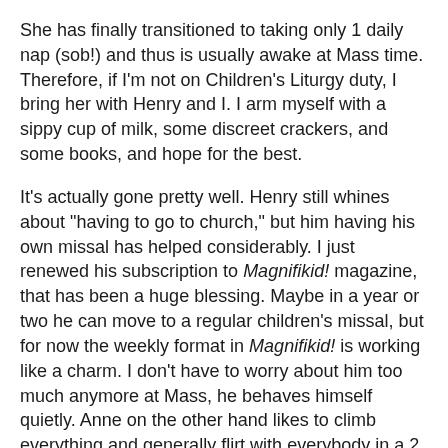She has finally transitioned to taking only 1 daily nap (sob!) and thus is usually awake at Mass time. Therefore, if I'm not on Children's Liturgy duty, I bring her with Henry and I. I arm myself with a sippy cup of milk, some discreet crackers, and some books, and hope for the best.
It's actually gone pretty well. Henry still whines about "having to go to church," but him having his own missal has helped considerably. I just renewed his subscription to Magnifikid! magazine, that has been a huge blessing. Maybe in a year or two he can move to a regular children's missal, but for now the weekly format in Magnifikid! is working like a charm. I don't have to worry about him too much anymore at Mass, he behaves himself quietly. Anne on the other hand likes to climb everything and generally flirt with everybody in a 2 pew radius. No major meltdowns though with her yet (fingers crossed).
Yesterday being the feast of St. Blaise, we all got our throats blessed, including Anne. She looked quite suspicious of the candles, but otherwise didn't cause any trouble. She had been inconsolable prior to Mass, so I was worried, but was